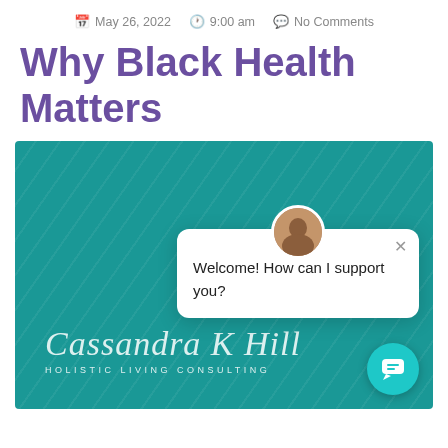May 26, 2022   9:00 am   No Comments
Why Black Health Matters
[Figure (photo): Teal background promotional image with cursive signature 'Cassandra K Hill' and text 'HOLISTIC LIVING CONSULTING', overlaid with a chat popup saying 'Welcome! How can I support you?' with a profile photo avatar and a teal chat button in the corner.]